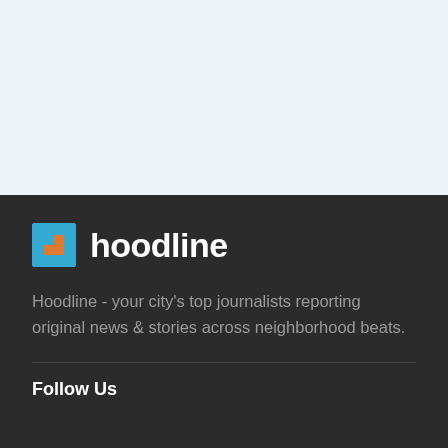[Figure (logo): Hoodline logo with blue square icon containing orange arrow shape and white text 'hoodline']
Hoodline - your city's top journalists reporting original news & stories across neighborhood beats.
Follow Us